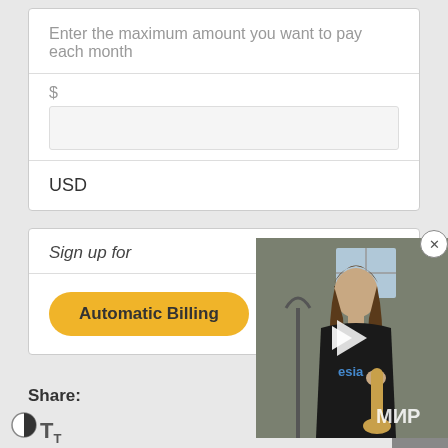Enter the maximum amount you want to pay each month
$
USD
Sign up for
Automatic Billing
[Figure (screenshot): Video thumbnail showing a person playing a saxophone outdoors near a microphone, with text 'MIR' visible, and a play button overlay]
Share:
0
CLOSE